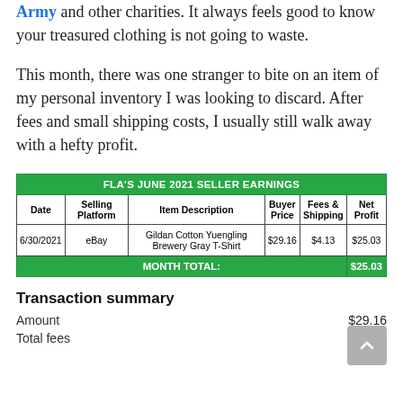Army and other charities. It always feels good to know your treasured clothing is not going to waste.
This month, there was one stranger to bite on an item of my personal inventory I was looking to discard. After fees and small shipping costs, I usually still walk away with a hefty profit.
| Date | Selling Platform | Item Description | Buyer Price | Fees & Shipping | Net Profit |
| --- | --- | --- | --- | --- | --- |
| 6/30/2021 | eBay | Gildan Cotton Yuengling Brewery Gray T-Shirt | $29.16 | $4.13 | $25.03 |
| MONTH TOTAL: |  |  |  |  | $25.03 |
Transaction summary
Amount $29.16
Total fees $6.13